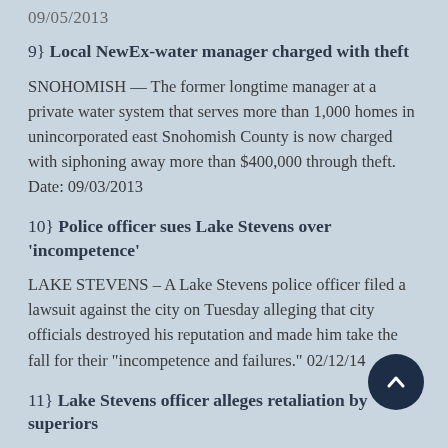09/05/2013
9} Local NewEx-water manager charged with theft
SNOHOMISH — The former longtime manager at a private water system that serves more than 1,000 homes in unincorporated east Snohomish County is now charged with siphoning away more than $400,000 through theft. Date: 09/03/2013
10} Police officer sues Lake Stevens over 'incompetence'
LAKE STEVENS – A Lake Stevens police officer filed a lawsuit against the city on Tuesday alleging that city officials destroyed his reputation and made him take the fall for their "incompetence and failures." 02/12/14
11} Lake Stevens officer alleges retaliation by superiors
LAKE STEVENS — A lawsuit filed last week accuses the Lake Stevens Police Department of retaliating